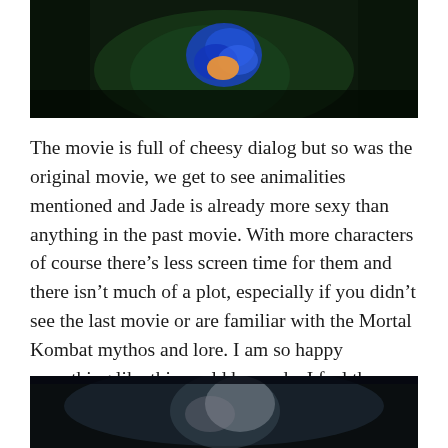[Figure (photo): Dark image showing blue flower with orange center against dark green foliage background]
The movie is full of cheesy dialog but so was the original movie, we get to see animalities mentioned and Jade is already more sexy than anything in the past movie. With more characters of course there’s less screen time for them and there isn’t much of a plot, especially if you didn’t see the last movie or are familiar with the Mortal Kombat mythos and lore. I am so happy something like this could be made, I feel the Mortal Kombat original movie got to have a sequel that wasn’t just a bad movie with missed opportunities, it gave us everything that was Mortal Kombat at the time, sure it was rushed and cheesy but it did what not many could’ve expected.
[Figure (photo): Dark image showing a figure or character in dark blue-grey tones, possibly from Mortal Kombat]